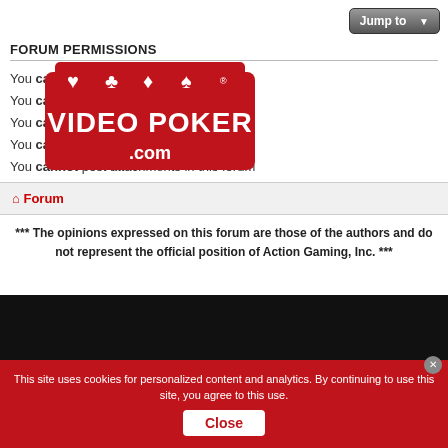Jump to
FORUM PERMISSIONS
You cannot post new topics in this forum
You cannot reply to topics in this forum
You cannot edit your posts in this forum
You cannot delete your posts in this forum
You cannot post attachments in this forum
[Figure (logo): Video Poker .com logo with playing card suits]
Forum
*** The opinions expressed on this forum are those of the authors and do not represent the official position of Action Gaming, Inc. ***
[Figure (screenshot): Dark video/advertisement area at bottom of page]
Living Well with Multiple Sclerosis: 5 Healthy Lifestyle Tweaks
This Misconception About Multiple Sclerosis Needs to Be Debunked
This site uses cookies for personalized content and analytics. By continuing to use this site, you agree to this use.